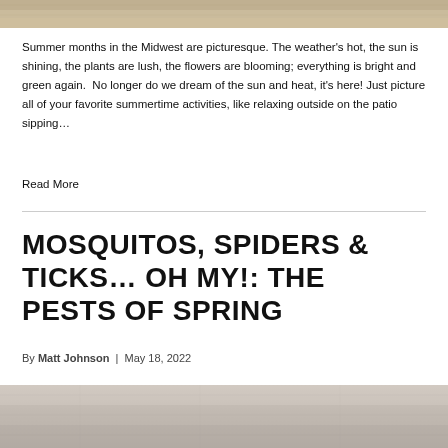[Figure (photo): Top portion of an outdoor/nature photo, cropped at top of page]
Summer months in the Midwest are picturesque. The weather's hot, the sun is shining, the plants are lush, the flowers are blooming; everything is bright and green again.  No longer do we dream of the sun and heat, it's here! Just picture all of your favorite summertime activities, like relaxing outside on the patio sipping…
Read More
MOSQUITOS, SPIDERS & TICKS… OH MY!: THE PESTS OF SPRING
By Matt Johnson  |  May 18, 2022
[Figure (photo): Bottom portion of an outdoor/nature photo, partially visible at bottom of page]